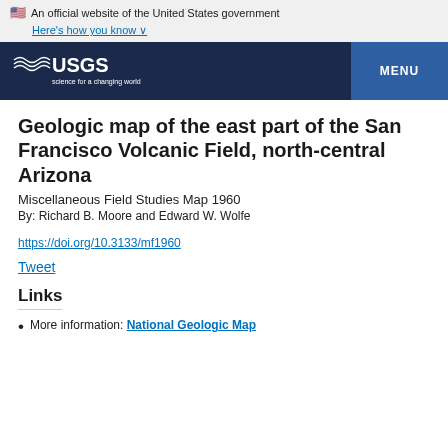An official website of the United States government Here's how you know
[Figure (logo): USGS logo - science for a changing world - white on dark blue background, with MENU button on right]
Geologic map of the east part of the San Francisco Volcanic Field, north-central Arizona
Miscellaneous Field Studies Map 1960
By: Richard B. Moore and Edward W. Wolfe
https://doi.org/10.3133/mf1960
Tweet
Links
More information: National Geologic Map